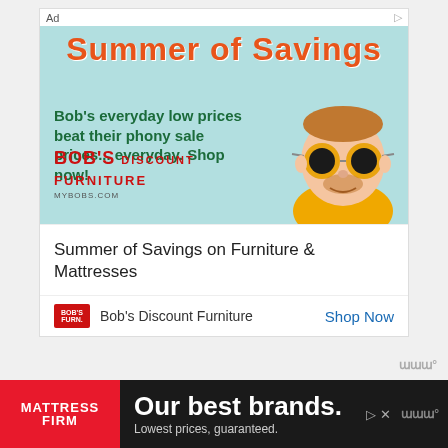[Figure (screenshot): Bob's Discount Furniture 'Summer of Savings' advertisement banner with teal background, orange script title text, green tagline 'Bob's everyday low prices beat their phony sale prices... everyday. Shop now!', Bob's Furniture red logo, and cartoon character wearing sunglasses on the right side.]
Summer of Savings on Furniture & Mattresses
Bob's Discount Furniture
Shop Now
You never want to strain your back or neck to see the game that you are playing. Find one that is comfortable to use with the height and size of the screen that. you game on.
[Figure (screenshot): Mattress Firm bottom advertisement bar with red logo, 'Our best brands. Lowest prices, guaranteed.' text on dark background.]